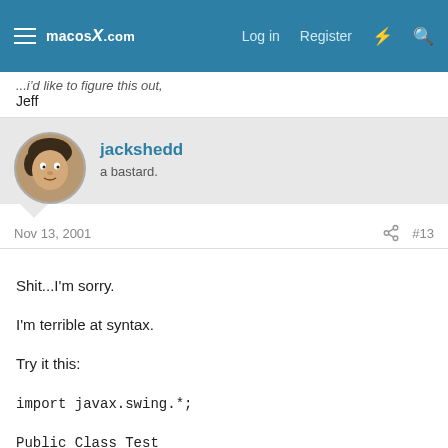macosX.com  Log in  Register
...i'd like to figure this out,
Jeff
jackshedd
a bastard.
Nov 13, 2001  #13
Shit...I'm sorry.

I'm terrible at syntax.

Try it this:

import javax.swing.*;

Public Class Test
{
public static void main ( String args[] )